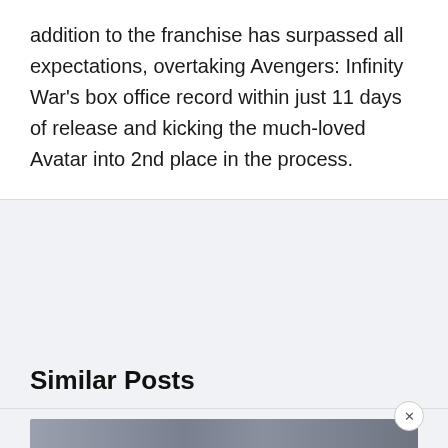addition to the franchise has surpassed all expectations, overtaking Avengers: Infinity War's box office record within just 11 days of release and kicking the much-loved Avatar into 2nd place in the process.
Similar Posts
[Figure (photo): A partially visible image strip at the bottom of the page, showing a dark scene, partially obscured.]